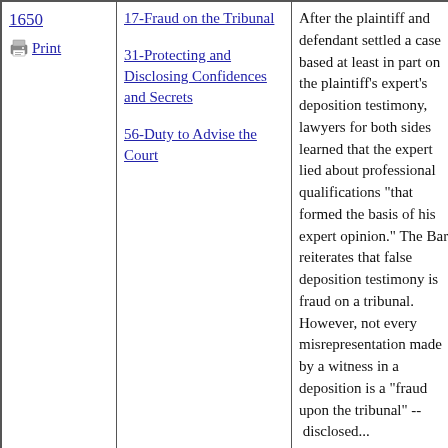| ID / Action | Categories | Description | Date |
| --- | --- | --- | --- |
| 1650
Print | 17-Fraud on the Tribunal
31-Protecting and Disclosing Confidences and Secrets
56-Duty to Advise the Court | After the plaintiff and defendant settled a case based at least in part on the plaintiff's expert's deposition testimony, lawyers for both sides learned that the expert lied about professional qualifications "that formed the basis of his expert opinion." The Bar reiterates that false deposition testimony is fraud on a tribunal. However, not every misrepresentation made by a witness in a deposition is a "fraud upon the tribunal" -- disclosed... | 9/8/1995 |